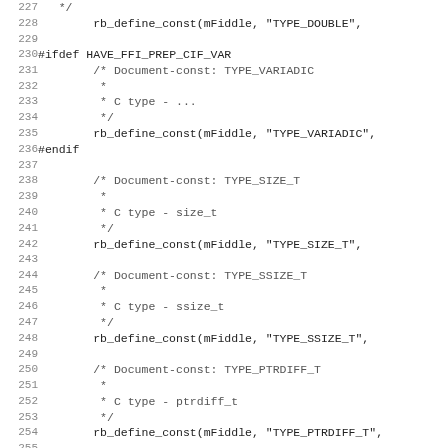Source code listing, lines 227–256, showing C code with rb_define_const calls and preprocessor directives